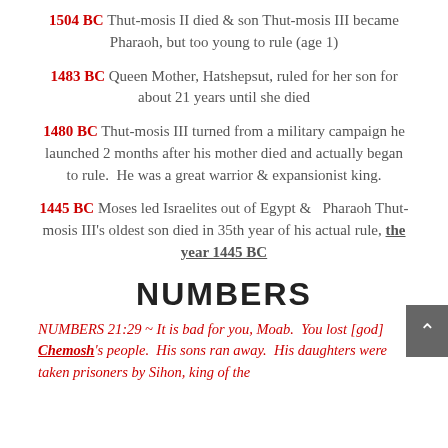1504 BC Thut-mosis II died & son Thut-mosis III became Pharaoh, but too young to rule (age 1)
1483 BC Queen Mother, Hatshepsut, ruled for her son for about 21 years until she died
1480 BC Thut-mosis III turned from a military campaign he launched 2 months after his mother died and actually began to rule. He was a great warrior & expansionist king.
1445 BC Moses led Israelites out of Egypt & Pharaoh Thut-mosis III's oldest son died in 35th year of his actual rule, the year 1445 BC
NUMBERS
NUMBERS 21:29 ~ It is bad for you, Moab. You lost [god] Chemosh's people. His sons ran away. His daughters were taken prisoners by Sihon, king of the